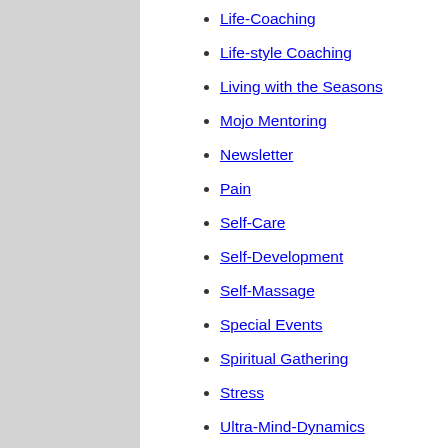Life-Coaching
Life-style Coaching
Living with the Seasons
Mojo Mentoring
Newsletter
Pain
Self-Care
Self-Development
Self-Massage
Special Events
Spiritual Gathering
Stress
Ultra-Mind-Dynamics